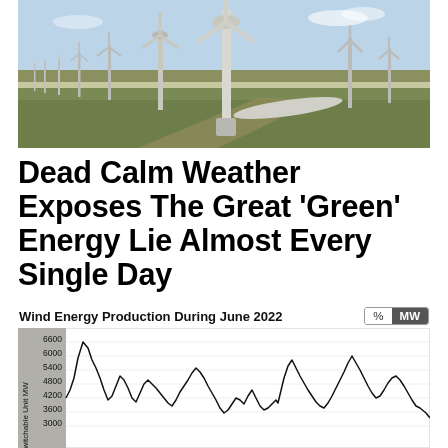[Figure (photo): Wind turbines in a flat agricultural landscape under a blue sky. Large turbine in foreground, many smaller turbines extending into the distance.]
Dead Calm Weather Exposes The Great 'Green' Energy Lie Almost Every Single Day
[Figure (continuous-plot): Wind Energy Production During June 2022 - area/line chart showing highly variable MW output over the month, with y-axis labeled 'Switchable Unit MW' ranging from approximately 3000 to 6600 MW. Toggle buttons for % and MW in upper right.]